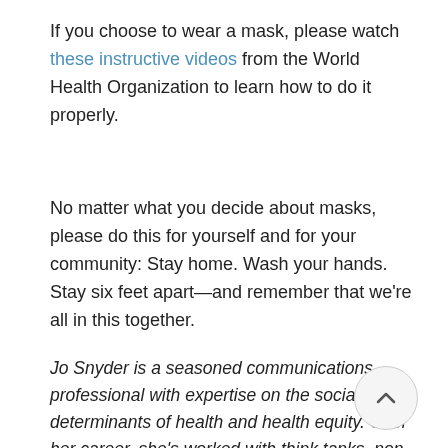If you choose to wear a mask, please watch these instructive videos from the World Health Organization to learn how to do it properly.
No matter what you decide about masks, please do this for yourself and for your community: Stay home. Wash your hands. Stay six feet apart—and remember that we're all in this together.
Jo Snyder is a seasoned communications professional with expertise on the social determinants of health and health equity. Over her career, she's worked with think tanks, non profits and big tech to deliver comms of